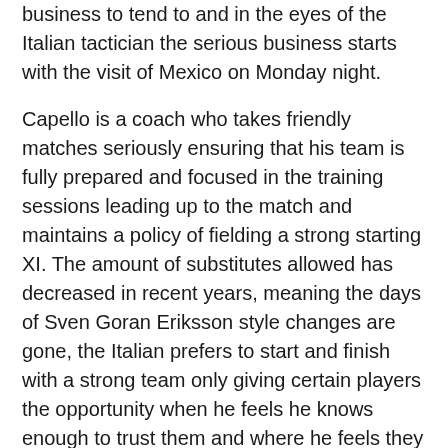business to tend to and in the eyes of the Italian tactician the serious business starts with the visit of Mexico on Monday night.
Capello is a coach who takes friendly matches seriously ensuring that his team is fully prepared and focused in the training sessions leading up to the match and maintains a policy of fielding a strong starting XI. The amount of substitutes allowed has decreased in recent years, meaning the days of Sven Goran Eriksson style changes are gone, the Italian prefers to start and finish with a strong team only giving certain players the opportunity when he feels he knows enough to trust them and where he feels they can make an impact on proceedings. With this in mind it may be unlikely that those fringe players drafted into the squad will all be given a chance to impress.
A certainty surrounding this fixture is that Capello will not be able to pick his strongest XI following those players involved in the FA Cup final being given extra time to rest and